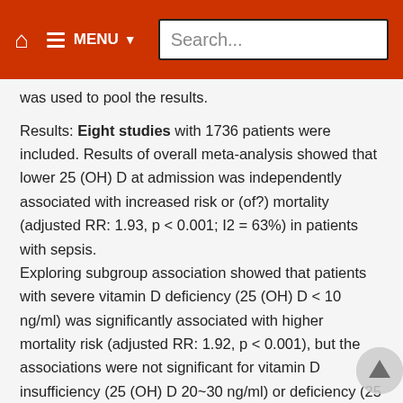🏠  ≡ MENU ▾  Search...
was used to pool the results.
Results: Eight studies with 1736 patients were included. Results of overall meta-analysis showed that lower 25 (OH) D at admission was independently associated with increased risk or (of?) mortality (adjusted RR: 1.93, p < 0.001; I2 = 63%) in patients with sepsis.
Exploring subgroup association showed that patients with severe vitamin D deficiency (25 (OH) D < 10 ng/ml) was significantly associated with higher mortality risk (adjusted RR: 1.92, p < 0.001), but the associations were not significant for vitamin D insufficiency (25 (OH) D 20~30 ng/ml) or deficiency (25 (OH) D 10~20 ng/ml). Further analyses showed that the association between lower serum 25 (OH) D and higher mortality risk were consistent in studies applied different diagnostic criteria for